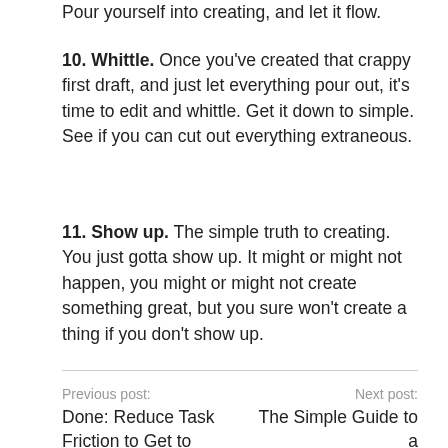Pour yourself into creating, and let it flow.
10. Whittle. Once you've created that crappy first draft, and just let everything pour out, it's time to edit and whittle. Get it down to simple. See if you can cut out everything extraneous.
11. Show up. The simple truth to creating. You just gotta show up. It might or might not happen, you might or might not create something great, but you sure won't create a thing if you don't show up.
Previous post: Done: Reduce Task Friction to Get to Task... | Next post: The Simple Guide to a Minimalist Life...